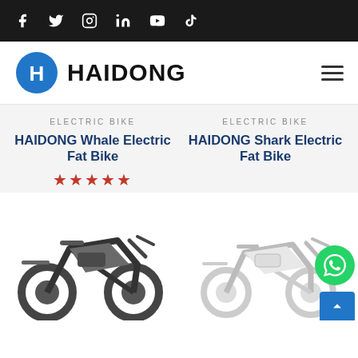Social media icons: Facebook, Twitter, Instagram, LinkedIn, YouTube, TikTok
[Figure (logo): HAIDONG brand logo with blue stylized H/D icon and bold black HAIDONG text]
ELECTRIC BIKE
HAIDONG Whale Electric Fat Bike
★★★★★ (5 stars)
ELECTRIC BIKE
HAIDONG Shark Electric Fat Bike
[Figure (photo): Dark gray/silver HAIDONG Whale electric fat bike with large tires and rear rack, angled side view]
[Figure (photo): White HAIDONG Shark electric fat bike with foldable frame and rear rack, angled side view]